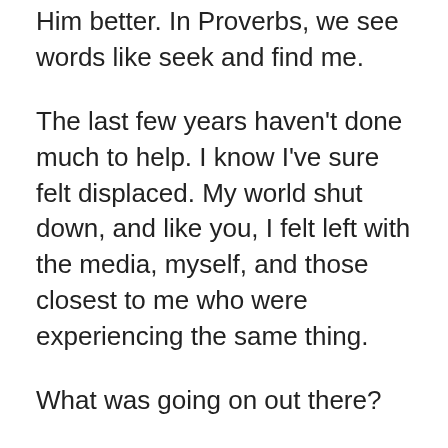Him better. In Proverbs, we see words like seek and find me.
The last few years haven't done much to help. I know I've sure felt displaced. My world shut down, and like you, I felt left with the media, myself, and those closest to me who were experiencing the same thing.
What was going on out there?
I knew where my faith should have been, in Jesus. I know He says he will never leave or abandon me, but it was so much easier to turn my eyes to the world and believe everything I saw. Overwhelmed when I should have